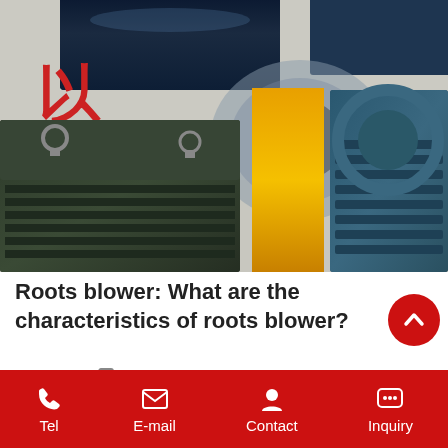[Figure (photo): Industrial roots blower machinery photo showing large blue industrial blower/pump equipment with yellow coupling, green electric motor on the left, and large blue pipes on top. Chinese character '以' visible on wall in background. Equipment photographed outdoors at a manufacturing facility.]
Roots blower: What are the characteristics of roots blower?
35  |  Read More
Tel  E-mail  Contact  Inquiry